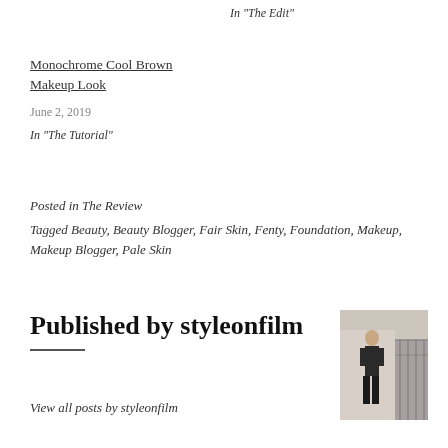In "The Edit"
Monochrome Cool Brown Makeup Look
June 2, 2019
In "The Tutorial"
Posted in The Review
Tagged Beauty, Beauty Blogger, Fair Skin, Fenty, Foundation, Makeup, Makeup Blogger, Pale Skin
Published by styleonfilm
[Figure (photo): Small portrait photo of styleonfilm author standing on a street]
View all posts by styleonfilm